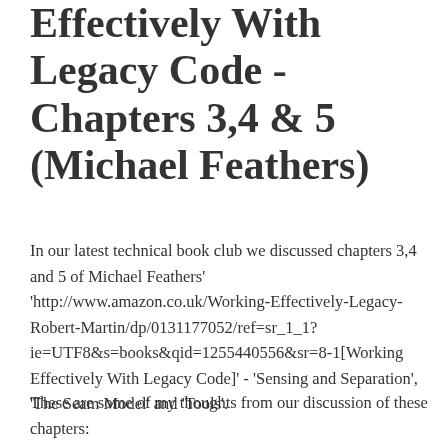Effectively With Legacy Code - Chapters 3,4 & 5 (Michael Feathers)
In our latest technical book club we discussed chapters 3,4 and 5 of Michael Feathers' 'http://www.amazon.co.uk/Working-Effectively-Legacy-Robert-Martin/dp/0131177052/ref=sr_1_1?ie=UTF8&s=books&qid=1255440556&sr=8-1[Working Effectively With Legacy Code]' - 'Sensing and Separation', 'The Seam Model' and 'Tools'.
These are some of my thoughts from our discussion of these chapters: